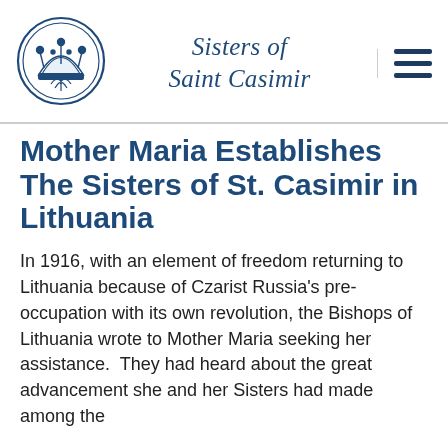Sisters of Saint Casimir
Mother Maria Establishes The Sisters of St. Casimir in Lithuania
In 1916, with an element of freedom returning to Lithuania because of Czarist Russia's pre-occupation with its own revolution, the Bishops of Lithuania wrote to Mother Maria seeking her assistance.  They had heard about the great advancement she and her Sisters had made among the